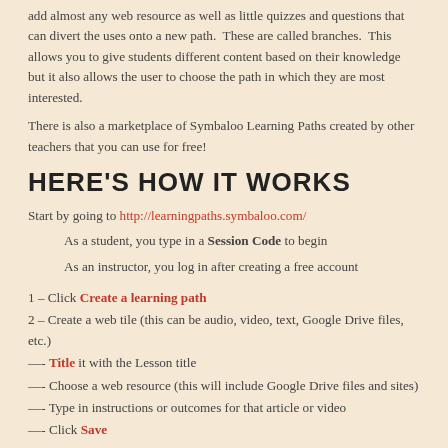add almost any web resource as well as little quizzes and questions that can divert the uses onto a new path. These are called branches. This allows you to give students different content based on their knowledge but it also allows the user to choose the path in which they are most interested.
There is also a marketplace of Symbaloo Learning Paths created by other teachers that you can use for free!
HERE'S HOW IT WORKS
Start by going to http://learningpaths.symbaloo.com/
As a student, you type in a Session Code to begin
As an instructor, you log in after creating a free account
1 – Click Create a learning path
2 – Create a web tile (this can be audio, video, text, Google Drive files, etc.)
—- Title it with the Lesson title
—- Choose a web resource (this will include Google Drive files and sites)
—- Type in instructions or outcomes for that article or video
—- Click Save
3 – Create a new tile